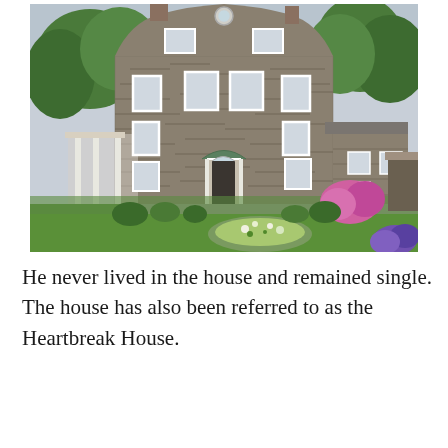[Figure (photo): Exterior photograph of a large historic stone house with a distinctive Dutch-style curved gable roofline, white-trimmed windows, a central arched entrance door with green canopy, a white columned porch on the left side, pink rhododendrons in bloom, a circular flower garden in the foreground driveway, and a well-maintained green lawn. Trees visible in background.]
He never lived in the house and remained single. The house has also been referred to as the Heartbreak House.
...